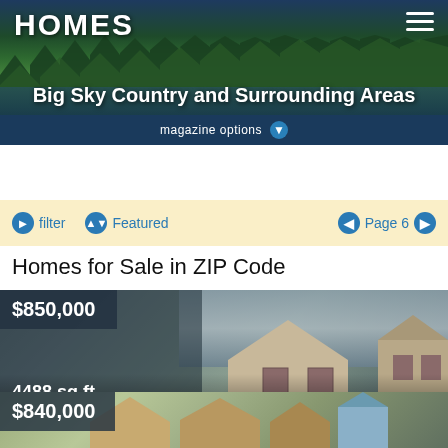HOMES — Big Sky Country and Surrounding Areas — magazine options
filter  Featured  Page 6
Homes for Sale in ZIP Code
[Figure (photo): Exterior photo of two-story house at 1050/1160 Forestvale Road, Helena MT 59602, listed at $850,000]
$850,000
4488 sq.ft.
1050/1160 Forestvale Road , Helena MT 59602
[Figure (photo): Exterior photo of house listed at $840,000]
$840,000